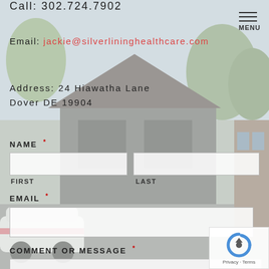Call: 302.724.7902
Email: jackie@silverlininghealthcare.com
Address: 24 Hiawatha Lane
Dover DE 19904
NAME *
FIRST
LAST
EMAIL *
COMMENT OR MESSAGE *